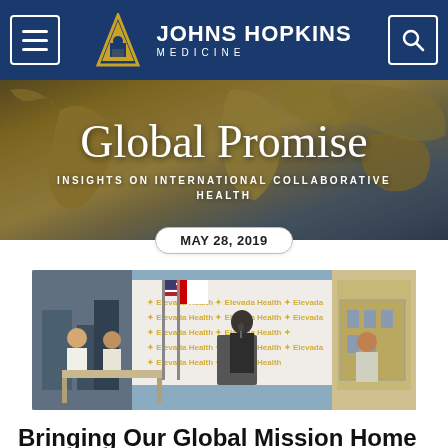Johns Hopkins Medicine
Global Promise — INSIGHTS ON INTERNATIONAL COLLABORATIVE HEALTH
MAY 28, 2019
[Figure (photo): A man in a suit speaking at a podium at an event, with an American flag and a branded backdrop behind him, and other attendees seated nearby.]
Bringing Our Global Mission Home